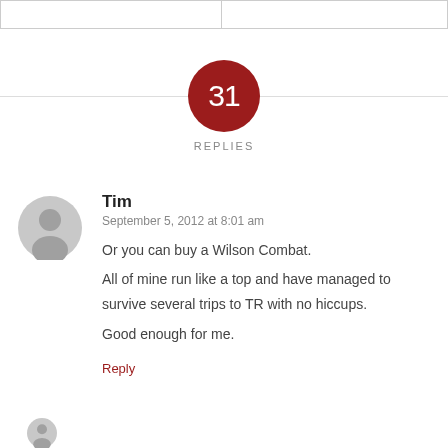[Figure (other): Two bordered boxes at top of page, partially visible]
[Figure (infographic): Dark red circle badge with number 31 inside, labeled REPLIES below]
REPLIES
[Figure (illustration): Generic user avatar icon - grey circle with person silhouette]
Tim
September 5, 2012 at 8:01 am
Or you can buy a Wilson Combat.
All of mine run like a top and have managed to survive several trips to TR with no hiccups.
Good enough for me.
Reply